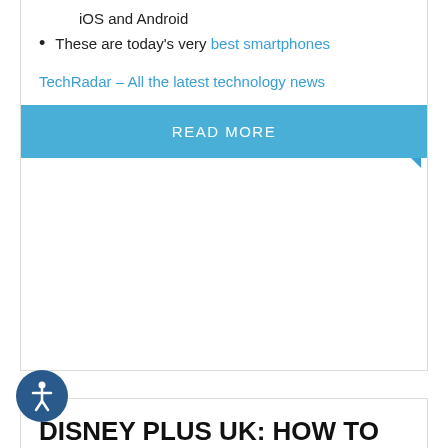iOS and Android
These are today's very best smartphones
TechRadar – All the latest technology news
READ MORE
DISNEY PLUS UK: HOW TO SIGN UP, MOVIES, APP LINKS, SKY Q AND MORE EXPLAINED
APRIL 9, 2020   NO COMMENTS
Disney Plus is out now in the UK. For just £5.99 a month, you can stream a whole host of fantastic old movies for a reasonable price, with some classic TV shows thrown in for good measure.